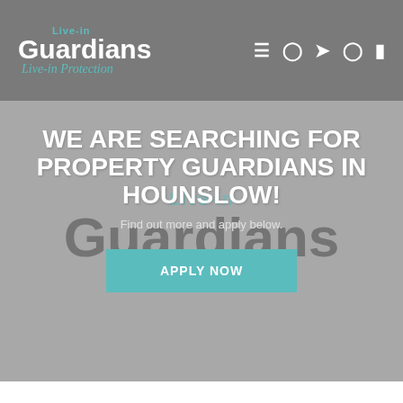Live-in Guardians — Live-in Protection
WE ARE SEARCHING FOR PROPERTY GUARDIANS IN HOUNSLOW!
Find out more and apply below.
APPLY NOW
If you're wanting to live in west London whilst paying a fraction of the price of a regular leasing, coming to be a property guardian could be the solution for you. At Live-in Guardians we